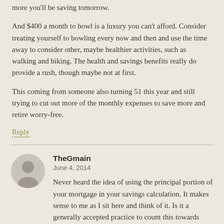more you'll be saving tomorrow.
And $400 a month to bowl is a luxury you can't afford. Consider treating yourself to bowling every now and then and use the time away to consider other, maybe healthier activities, such as walking and biking. The health and savings benefits really do provide a rush, though maybe not at first.
This coming from someone also turning 51 this year and still trying to cut out more of the monthly expenses to save more and retire worry-free.
Reply
TheGmain
June 4, 2014
Never heard the idea of using the principal portion of your mortgage in your savings calculation. It makes sense to me as I sit here and think of it. Is it a generally accepted practice to count this towards your savings percentage goal? Or — is it an "accounting" trick to help someone feel better about hitting